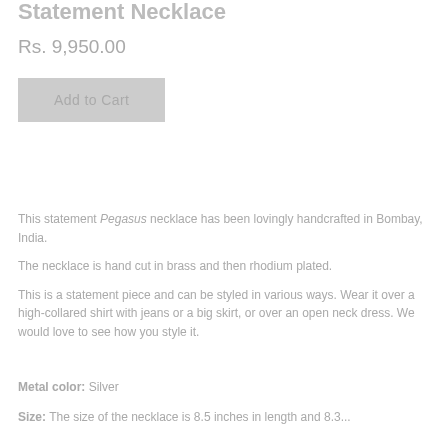Statement Necklace
Rs. 9,950.00
Add to Cart
This statement Pegasus necklace has been lovingly handcrafted in Bombay, India.
The necklace is hand cut in brass and then rhodium plated.
This is a statement piece and can be styled in various ways. Wear it over a high-collared shirt with jeans or a big skirt, or over an open neck dress. We would love to see how you style it.
Metal color: Silver
Size: The size of the necklace is 8.5 inches in length and 8.3...